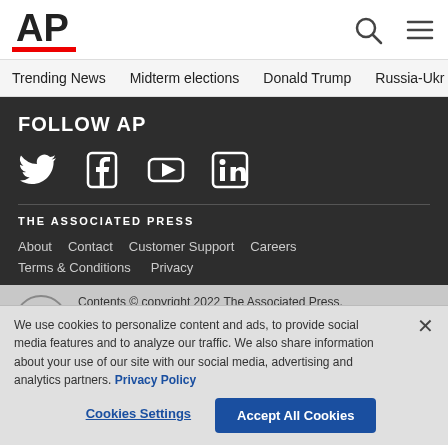AP
Trending News   Midterm elections   Donald Trump   Russia-Ukr
FOLLOW AP
[Figure (logo): Social media icons: Twitter, Facebook, YouTube, LinkedIn]
THE ASSOCIATED PRESS
About   Contact   Customer Support   Careers
Terms & Conditions   Privacy
Contents © copyright 2022 The Associated Press. All rights reserved.
We use cookies to personalize content and ads, to provide social media features and to analyze our traffic. We also share information about your use of our site with our social media, advertising and analytics partners. Privacy Policy
Cookies Settings   Accept All Cookies